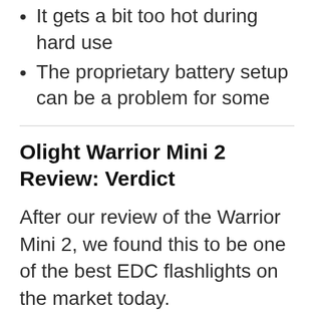It gets a bit too hot during hard use
The proprietary battery setup can be a problem for some
Olight Warrior Mini 2 Review: Verdict
After our review of the Warrior Mini 2, we found this to be one of the best EDC flashlights on the market today.